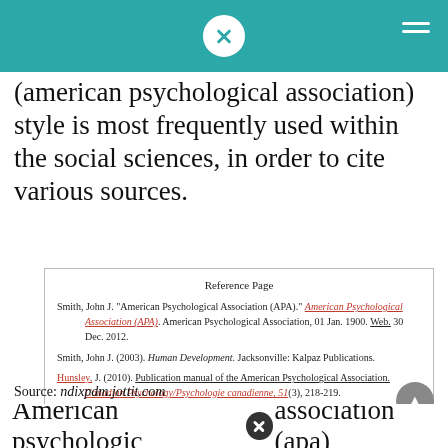(american psychological association) style is most frequently used within the social sciences, in order to cite various sources.
Reference Page
Smith, John J. "American Psychological Association (APA)." American Psychological Association (APA). American Psychological Association, 01 Jan. 1900. Web. 30 Dec. 2012.
Smith, John J. (2003). Human Development. Jacksonville: Kalpaz Publications.
Hunsley, J. (2010). Publication manual of the American Psychological Association. Canadian Psychology/Psychologie canadienne, 51(3), 218-219.
Source: ndixpdm.jottit.com
American psychologic association (apa)